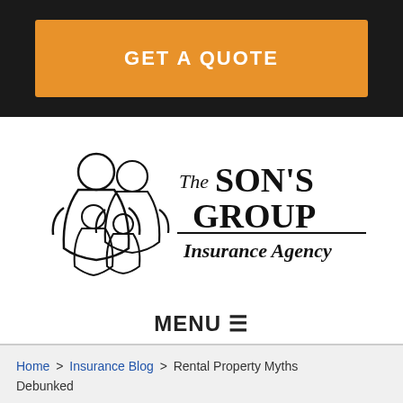GET A QUOTE
[Figure (logo): The Son's Group Insurance Agency logo with silhouette of family figures on the left and bold text on the right reading 'The SON'S GROUP Insurance Agency']
MENU ☰
Home > Insurance Blog > Rental Property Myths Debunked